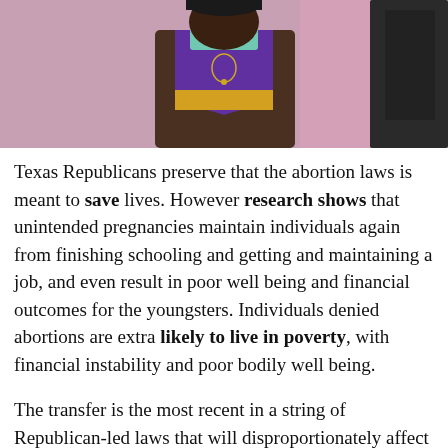[Figure (photo): A person wearing a purple, brown, and yellow jersey/vest standing near a pink wall and a dark vehicle door]
Texas Republicans preserve that the abortion laws is meant to save lives. However research shows that unintended pregnancies maintain individuals again from finishing schooling and getting and maintaining a job, and even result in poor well being and financial outcomes for the youngsters. Individuals denied abortions are extra likely to live in poverty, with financial instability and poor bodily well being.
The transfer is the most recent in a string of Republican-led laws that will disproportionately affect poor individuals within the nation. Final yr, Donald Trump was voted out of the White House